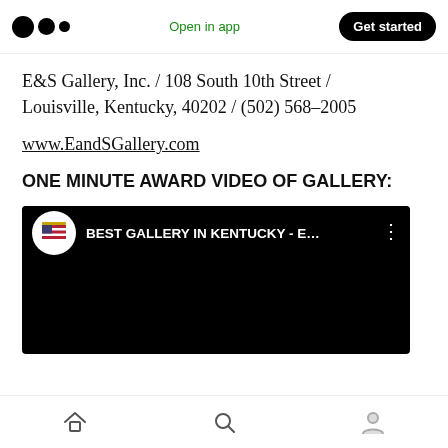Medium app header — Open in app / Get started
E&S Gallery, Inc. / 108 South 10th Street / Louisville, Kentucky, 40202 / (502) 568–2005
www.EandSGallery.com
ONE MINUTE AWARD VIDEO OF GALLERY:
[Figure (screenshot): YouTube video embed thumbnail with black background showing title 'BEST GALLERY IN KENTUCKY - E...' with a circular logo featuring an American flag on the left and a three-dot menu icon on the right.]
Mobile navigation bar with home, search, and profile icons